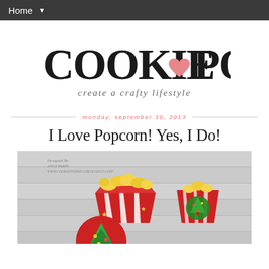Home ▼
[Figure (logo): Cookie Pop blog logo with heart shape between COOKIE and POP text, handwritten style lettering, subtitle reads 'create a crafty lifestyle']
monday, september 30, 2013
I Love Popcorn! Yes, I Do!
[Figure (photo): Photo of Christmas-themed popcorn boxes - red and white striped popcorn container with yellow popcorn, and holiday decorated cup/container, on grey wood background. Watermark: Designed By ANGI PARIS, www.cookiepopangi.blogspot.com]